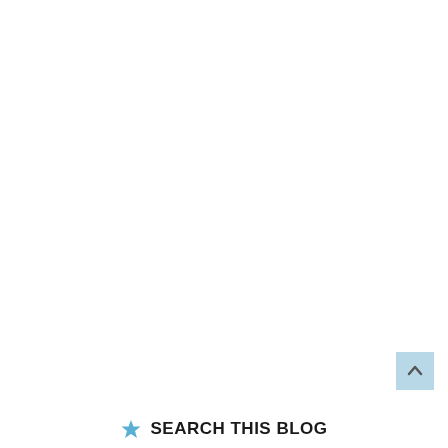[Figure (other): Scroll-to-top button: a light blue square with an upward-pointing chevron/caret arrow in the bottom-right of the page]
★ SEARCH THIS BLOG